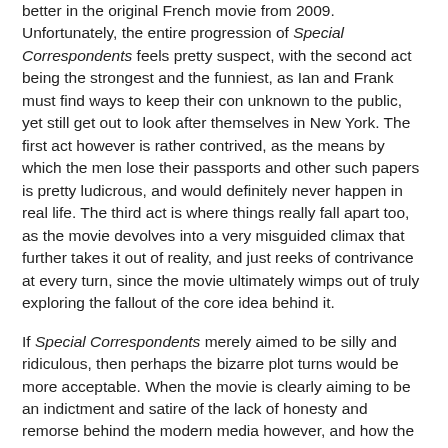better in the original French movie from 2009. Unfortunately, the entire progression of Special Correspondents feels pretty suspect, with the second act being the strongest and the funniest, as Ian and Frank must find ways to keep their con unknown to the public, yet still get out to look after themselves in New York. The first act however is rather contrived, as the means by which the men lose their passports and other such papers is pretty ludicrous, and would definitely never happen in real life. The third act is where things really fall apart too, as the movie devolves into a very misguided climax that further takes it out of reality, and just reeks of contrivance at every turn, since the movie ultimately wimps out of truly exploring the fallout of the core idea behind it.
If Special Correspondents merely aimed to be silly and ridiculous, then perhaps the bizarre plot turns would be more acceptable. When the movie is clearly aiming to be an indictment and satire of the lack of honesty and remorse behind the modern media however, and how the public eats up blatantly false pageantry in lieu of real news, taking the movie too far out of reality is not a good idea. Unfortunately, that's exactly what Special Correspondents does. The movie may have a brilliant idea behind